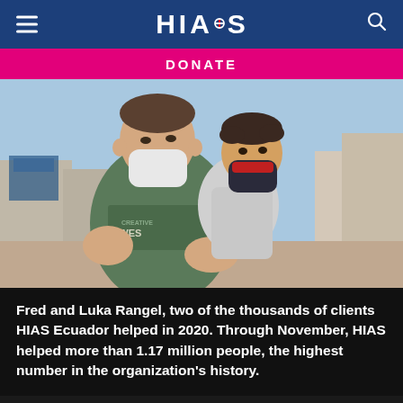HIAS — DONATE
[Figure (photo): A man (Fred Rangel) wearing a grey t-shirt and white face mask holds a young child (Luka Rangel) wearing a dark face mask with red markings. Both are outdoors with a blurred background of buildings and blue sky.]
Fred and Luka Rangel, two of the thousands of clients HIAS Ecuador helped in 2020. Through November, HIAS helped more than 1.17 million people, the highest number in the organization's history.